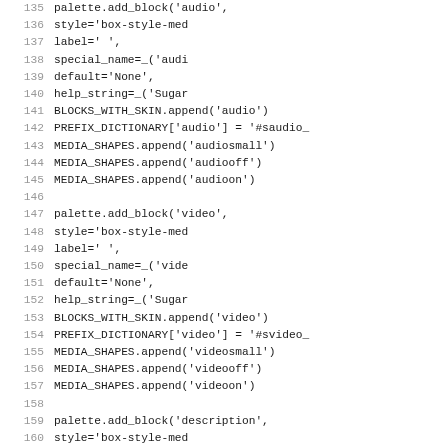Source code listing, lines 135-164, showing Python palette block configuration code
135    palette.add_block('audio',
136                                    style='box-style-med
137                                    label=' ',
138                                    special_name=_('audi
139                                    default='None',
140                                    help_string=_('Sugar
141            BLOCKS_WITH_SKIN.append('audio')
142            PREFIX_DICTIONARY['audio'] = '#saudio_
143            MEDIA_SHAPES.append('audiosmall')
144            MEDIA_SHAPES.append('audiooff')
145            MEDIA_SHAPES.append('audioon')
146
147            palette.add_block('video',
148                                    style='box-style-med
149                                    label=' ',
150                                    special_name=_('vide
151                                    default='None',
152                                    help_string=_('Sugar
153            BLOCKS_WITH_SKIN.append('video')
154            PREFIX_DICTIONARY['video'] = '#svideo_
155            MEDIA_SHAPES.append('videosmall')
156            MEDIA_SHAPES.append('videooff')
157            MEDIA_SHAPES.append('videoon')
158
159            palette.add_block('description',
160                                    style='box-style-med
161                                    label=' ',
162                                    special_name=_('desc
163                                    default='None',
164                                    help_string=_('Sugar
165    BLOCKS_WITH_SKIN.append('description')